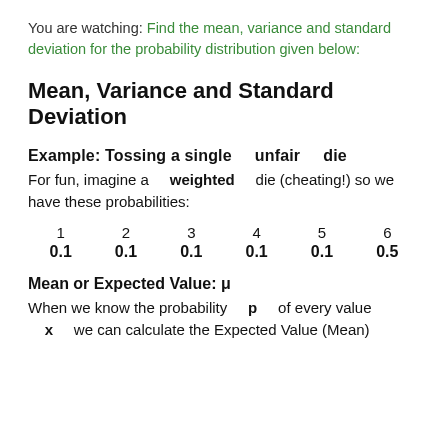You are watching: Find the mean, variance and standard deviation for the probability distribution given below:
Mean, Variance and Standard Deviation
Example: Tossing a single    unfair    die
For fun, imagine a    weighted    die (cheating!) so we have these probabilities:
| 1 | 2 | 3 | 4 | 5 | 6 |
| --- | --- | --- | --- | --- | --- |
| 0.1 | 0.1 | 0.1 | 0.1 | 0.1 | 0.5 |
Mean or Expected Value: μ
When we know the probability    p    of every value    x    we can calculate the Expected Value (Mean)